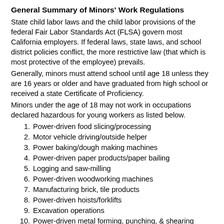General Summary of Minors' Work Regulations
State child labor laws and the child labor provisions of the federal Fair Labor Standards Act (FLSA) govern most California employers. If federal laws, state laws, and school district policies conflict, the more restrictive law (that which is most protective of the employee) prevails.
Generally, minors must attend school until age 18 unless they are 16 years or older and have graduated from high school or received a state Certificate of Proficiency.
Minors under the age of 18 may not work in occupations declared hazardous for young workers as listed below.
1. Power-driven food slicing/processing
2. Motor vehicle driving/outside helper
3. Power baking/dough making machines
4. Power-driven paper products/paper bailing
5. Logging and saw-milling
6. Power-driven woodworking machines
7. Manufacturing brick, tile products
8. Power-driven hoists/forklifts
9. Excavation operations
10. Power-driven metal forming, punching, & shearing machines
11. Explosives